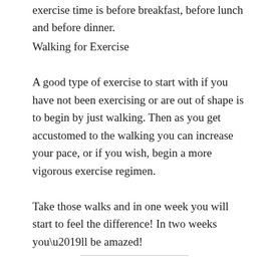exercise time is before breakfast, before lunch and before dinner.
Walking for Exercise
A good type of exercise to start with if you have not been exercising or are out of shape is to begin by just walking. Then as you get accustomed to the walking you can increase your pace, or if you wish, begin a more vigorous exercise regimen.
Take those walks and in one week you will start to feel the difference! In two weeks you’ll be amazed!